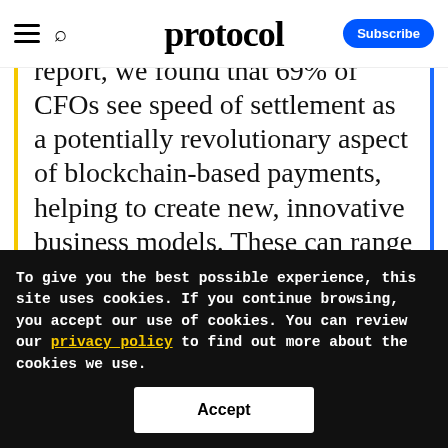protocol
report, we found that 69% of CFOs see speed of settlement as a potentially revolutionary aspect of blockchain-based payments, helping to create new, innovative business models. These can range from the introduction of B2C micropayments and the ability to
To give you the best possible experience, this site uses cookies. If you continue browsing, you accept our use of cookies. You can review our privacy policy to find out more about the cookies we use.
Accept